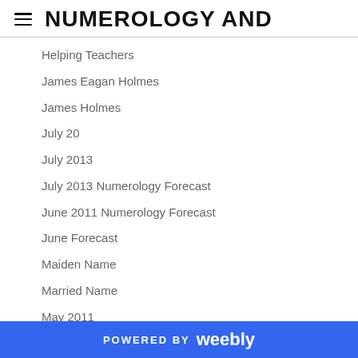NUMEROLOGY AND
Helping Teachers
James Eagan Holmes
James Holmes
July 20
July 2013
July 2013 Numerology Forecast
June 2011 Numerology Forecast
June Forecast
Maiden Name
Married Name
May 2011
May 2013
Men
Michael John Fierro
Michael John Fierro Numerologist
POWERED BY weebly